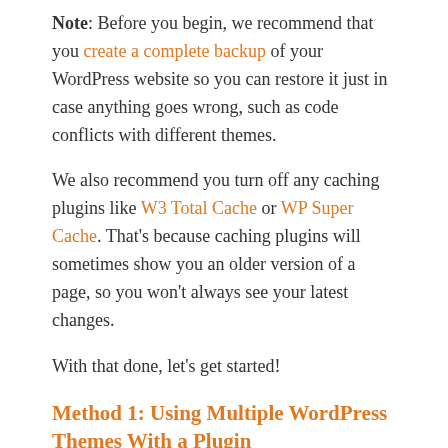Note: Before you begin, we recommend that you create a complete backup of your WordPress website so you can restore it just in case anything goes wrong, such as code conflicts with different themes.
We also recommend you turn off any caching plugins like W3 Total Cache or WP Super Cache. That's because caching plugins will sometimes show you an older version of a page, so you won't always see your latest changes.
With that done, let's get started!
Method 1: Using Multiple WordPress Themes With a Plugin
In this method, we'll use the Multiple Themes plugin